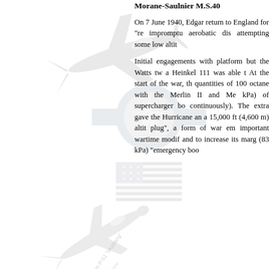[Figure (illustration): Background watermark-style illustrations of aircraft (including a North American P-51 Mustang labeled in diagonal text), a US military star-and-bar insignia, and an American flag, all rendered in light gray on the left half of the page.]
Morane-Saulnier M.S.40
On 7 June 1940, Edgar return to England for "re impromptu aerobatic dis attempting some low altit
Initial engagements with platform but the Watts tw a Heinkel 111 was able t At the start of the war, th quantities of 100 octane with the Merlin II and Me kPa) of supercharger bo continuously). The extra gave the Hurricane an a 15,000 ft (4,600 m) altit plug", a form of war em important wartime modif and to increase its marg (83 kPa) "emergency boo